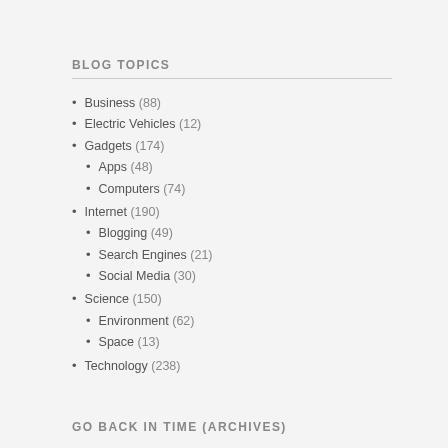BLOG TOPICS
Business (88)
Electric Vehicles (12)
Gadgets (174)
Apps (48)
Computers (74)
Internet (190)
Blogging (49)
Search Engines (21)
Social Media (30)
Science (150)
Environment (62)
Space (13)
Technology (238)
GO BACK IN TIME (ARCHIVES)